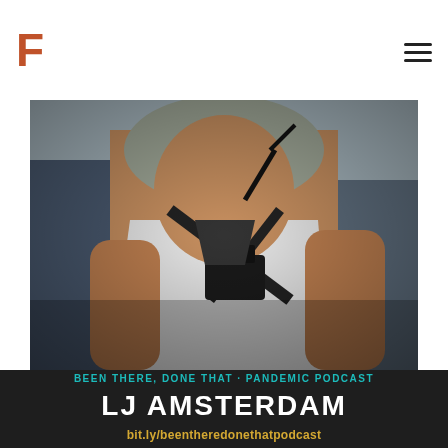F (logo) — hamburger menu
[Figure (photo): Close-up photo of a person wearing a white tank top and grey cap, carrying camera equipment in a chest harness with a pink armband visible, taken outdoors at what appears to be a public event]
BEEN THERE, DONE THAT · PANDEMIC PODCAST
LJ AMSTERDAM
bit.ly/beentheredonethatpodcast